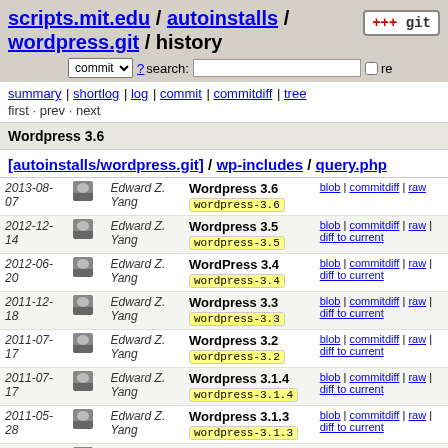scripts.mit.edu / autoinstalls / wordpress.git / history
commit search: re
summary | shortlog | log | commit | commitdiff | tree
first · prev · next
Wordpress 3.6
[autoinstalls/wordpress.git] / wp-includes / query.php
| date | author | commit | links |
| --- | --- | --- | --- |
| 2013-08-07 | Edward Z. Yang | Wordpress 3.6 wordpress-3.6 | blob | commitdiff | raw |
| 2012-12-14 | Edward Z. Yang | Wordpress 3.5 wordpress-3.5 | blob | commitdiff | raw | diff to current |
| 2012-06-20 | Edward Z. Yang | WordPress 3.4 wordpress-3.4 | blob | commitdiff | raw | diff to current |
| 2011-12-18 | Edward Z. Yang | Wordpress 3.3 wordpress-3.3 | blob | commitdiff | raw | diff to current |
| 2011-07-17 | Edward Z. Yang | Wordpress 3.2 wordpress-3.2 | blob | commitdiff | raw | diff to current |
| 2011-07-17 | Edward Z. Yang | Wordpress 3.1.4 wordpress-3.1.4 | blob | commitdiff | raw | diff to current |
| 2011-05-28 | Edward Z. Yang | Wordpress 3.1.3 wordpress-3.1.3 | blob | commitdiff | raw | diff to current |
| 2011-05- | Edward Z. | Wordpress 3.1.2 | blob | commitdiff | raw |